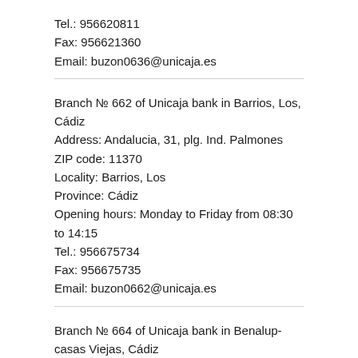Tel.: 956620811
Fax: 956621360
Email: buzon0636@unicaja.es
Branch № 662 of Unicaja bank in Barrios, Los, Cádiz
Address: Andalucia, 31, plg. Ind. Palmones
ZIP code: 11370
Locality: Barrios, Los
Province: Cádiz
Opening hours: Monday to Friday from 08:30 to 14:15
Tel.: 956675734
Fax: 956675735
Email: buzon0662@unicaja.es
Branch № 664 of Unicaja bank in Benalup-casas Viejas, Cádiz
Address: San Juan, 33
ZIP code: 11190
Locality: Benalup-casas Viejas
Province: Cádiz
Opening hours: Monday to Friday from 08:30 to 14:15